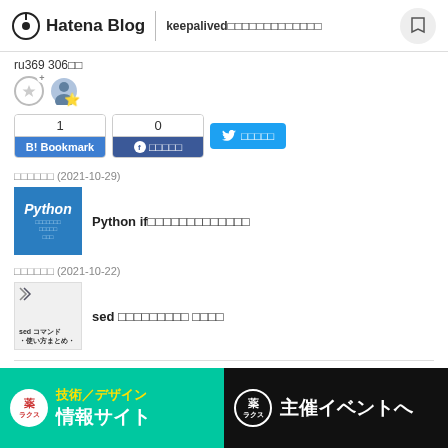Hatena Blog | keepalived□□□□□□□□□□□□□
ru369 306□□
[Figure (other): Star icons and user avatar with gold star]
[Figure (infographic): Social share buttons: B! Bookmark (1), Facebook share (0), Twitter share]
□□□□□□ (2021-10-29)
[Figure (other): Python category thumbnail, blue background with Python logo]
Python if□□□□□□□□□□□□□
□□□□□□ (2021-10-22)
[Figure (other): sed command thumbnail image]
sed □□□□□□□□□ □□□□
□□□□
[Figure (infographic): Two ad banners: left green with 技術/デザイン 情報サイト, right black with 主催イベントへ]